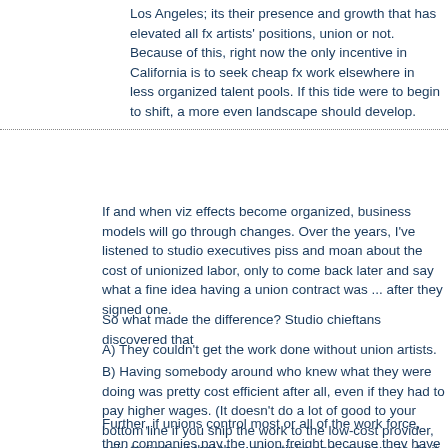Los Angeles; its their presence and growth that has elevated all fx artists' positions, union or not. Because of this, right now the only incentive in California is to seek cheap fx work elsewhere in less organized talent pools. If this tide were to begin to shift, a more even landscape should develop.
If and when viz effects become organized, business models will go through changes. Over the years, I've listened to studio executives piss and moan about the cost of unionized labor, only to come back later and say what a fine idea having a union contract was ... after they signed one.
So what made the difference? Studio chieftans discovered that
A) They couldn't get the work done without union artists.
B) Having somebody around who knew what they were doing was pretty cost efficient after all, even if they had to pay higher wages. (It doesn't do a lot of good to your bottom line if you ship the work to the low-cost provider, only to find out that the work stinks and you have to do it over.)
Further, if unions control most or all of the work force, then companies pay the union freight because they have few options; directors work under a pricey DGA contract, actors emote under the umbrella of SAG, writers create under the protective wing of the WGA, residuals and all. As I've heard over and over through the years: "It's the cost of doing business."